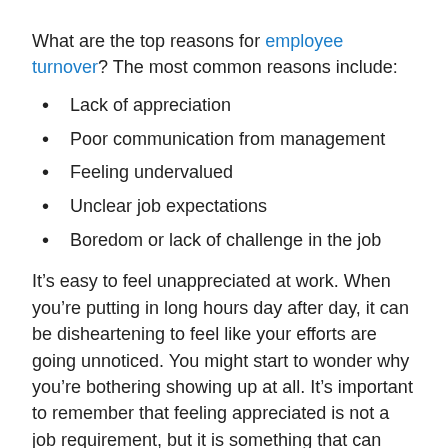What are the top reasons for employee turnover? The most common reasons include:
Lack of appreciation
Poor communication from management
Feeling undervalued
Unclear job expectations
Boredom or lack of challenge in the job
It’s easy to feel unappreciated at work. When you’re putting in long hours day after day, it can be disheartening to feel like your efforts are going unnoticed. You might start to wonder why you’re bothering showing up at all. It’s important to remember that feeling appreciated is not a job requirement, but it is something that can make a job more satisfying.
If you’re not being appreciated at your current job, try looking for ways to appreciate yourself. Focus on the